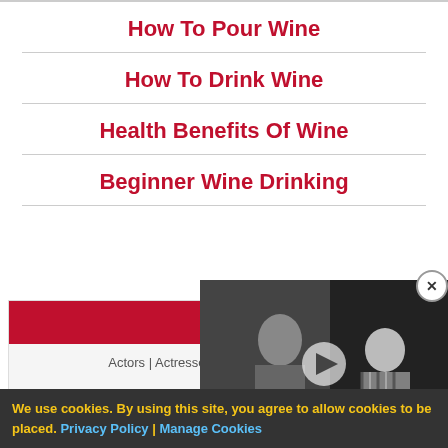How To Pour Wine
How To Drink Wine
Health Benefits Of Wine
Beginner Wine Drinking
[Figure (screenshot): Widget box with red 'See a...' bar and category links including Actors, Actresses, Annivers..., & Snacks, Baby Food, B..., Barbecue & Grilling, Ba...]
[Figure (photo): Black and white photo of people in a bar/restaurant setting with a video play button overlay]
We use cookies. By using this site, you agree to allow cookies to be placed. Privacy Policy | Manage Cookies